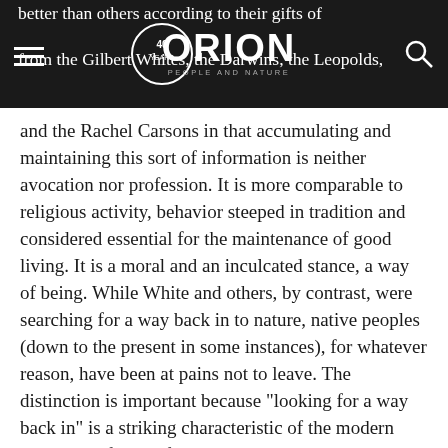better than others according to their gifts of observation. Natives there, however, from the Gilbert Whites, the Darwins, the Leopolds, [Orion 40 years logo]
and the Rachel Carsons in that accumulating and maintaining this sort of information is neither avocation nor profession. It is more comparable to religious activity, behavior steeped in tradition and considered essential for the maintenance of good living. It is a moral and an inculcated stance, a way of being. While White and others, by contrast, were searching for a way back in to nature, native peoples (down to the present in some instances), for whatever reason, have been at pains not to leave. The distinction is important because “looking for a way back in” is a striking characteristic of the modern naturalist’s frame of mind.
Gilbert White stood out among his social peers because what he pursued — a concrete knowledge of the natural world and followers. He and his...